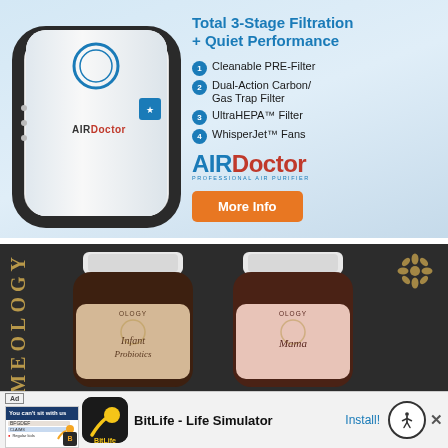[Figure (illustration): AirDoctor air purifier advertisement. White air purifier device on left with blue circle button and AIRDOCTOR branding. Right side shows headline 'Total 3-Stage Filtration + Quiet Performance' with numbered list: 1 Cleanable PRE-Filter, 2 Dual-Action Carbon/Gas Trap Filter, 3 UltraHEPA™ Filter, 4 WhisperJet™ Fans. AirDoctor logo below. Orange 'More Info' button.]
[Figure (photo): Meology supplement brand advertisement on dark background. Two brown supplement bottles with beige and pink labels labeled 'Infant Probiotics' and 'Mama'. Gold ornamental flower design in upper right. 'MEOLOGY' text vertically on left side in gold.]
[Figure (screenshot): Bottom banner ad for BitLife - Life Simulator app. Shows ad screenshot thumbnail on left, BitLife frog character logo icon, text 'BitLife - Life Simulator', Install! link in blue, accessibility icon circle, and close X button.]